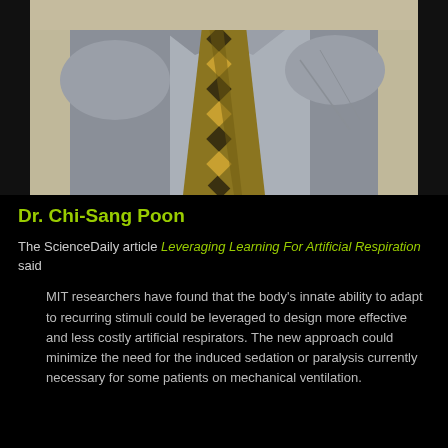[Figure (photo): Portrait photo of Dr. Chi-Sang Poon, showing a man in a grey dress shirt and gold/black patterned tie, cropped at the torso and lower face.]
Dr. Chi-Sang Poon
The ScienceDaily article Leveraging Learning For Artificial Respiration said
MIT researchers have found that the body's innate ability to adapt to recurring stimuli could be leveraged to design more effective and less costly artificial respirators. The new approach could minimize the need for the induced sedation or paralysis currently necessary for some patients on mechanical ventilation.